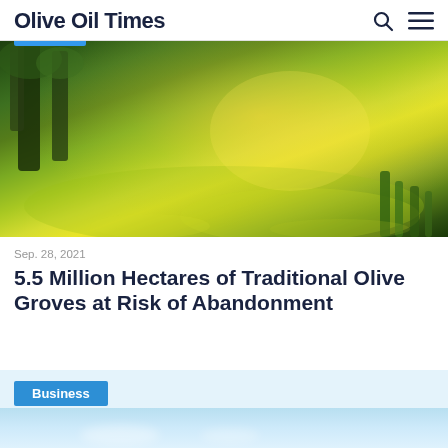Olive Oil Times
[Figure (photo): Sunlit olive grove with lush green grass and wildflowers on the ground, tree trunks visible on the left, golden sunlight filtering through]
Sep. 28, 2021
5.5 Million Hectares of Traditional Olive Groves at Risk of Abandonment
[Figure (photo): Second article preview with Business tag button and a landscape photo below, light blue background]
Business